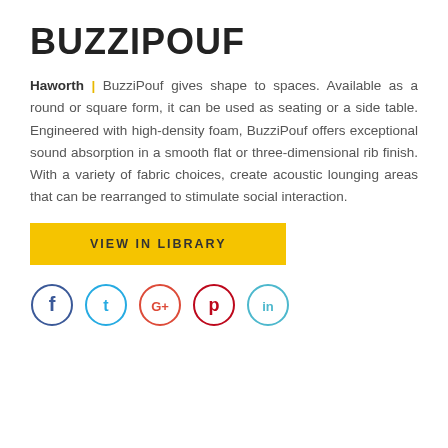BUZZIPOUF
Haworth | BuzziPouf gives shape to spaces. Available as a round or square form, it can be used as seating or a side table. Engineered with high-density foam, BuzziPouf offers exceptional sound absorption in a smooth flat or three-dimensional rib finish. With a variety of fabric choices, create acoustic lounging areas that can be rearranged to stimulate social interaction.
VIEW IN LIBRARY
[Figure (infographic): Social media icons: Facebook (dark blue circle), Twitter (light blue circle), Google+ (red circle), Pinterest (red circle), LinkedIn (light blue circle)]